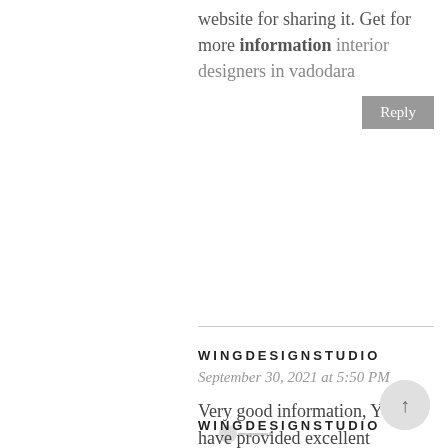website for sharing it. Get for more information interior designers in vadodara
Reply
WINGDESIGNSTUDIO
September 30, 2021 at 5:50 PM
Very good information, You have provided excellent information for us. It is valuable and informative for everyone. Keep